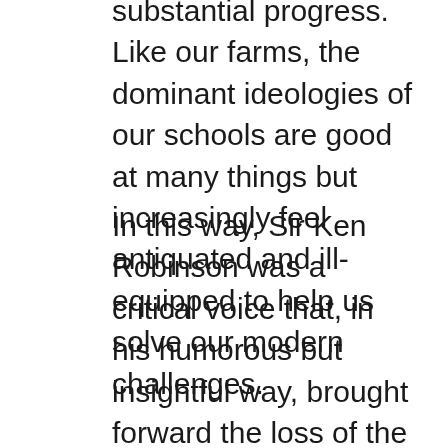substantial progress. Like our farms, the dominant ideologies of our schools are good at many things but increasingly feel antiquated and ill-equipped to help us solve our modern challenges.
In this way, Sir Ken Robinson was a critical voice that, in his humorous but insightful way, brought forward the loss of the full complexity of humanity we have sacrificed for standardization. He considered our approach to be Out of our Minds, in that we only sought to develop some of the potential each mind has to offer.  His passion and stories around dance and the arts were just one